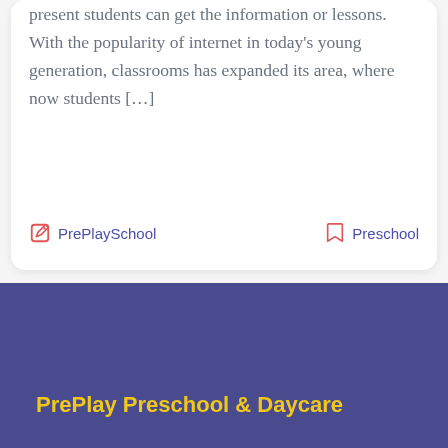present students can get the information or lessons. With the popularity of internet in today's young generation, classrooms has expanded its area, where now students […]
PrePlaySchool   Preschool
PrePlay Preschool & Daycare